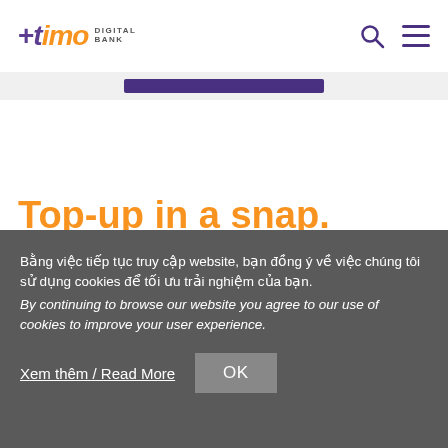timo DIGITAL BANK
[Figure (other): Purple button/bar element]
Top-up in a snap. Right in the app.
Bằng việc tiếp tục truy cập website, bạn đồng ý về việc chúng tôi sử dụng cookies để tối ưu trải nghiệm của bạn. By continuing to browse our website you agree to our use of cookies to improve your user experience.
Xem thêm / Read More
OK